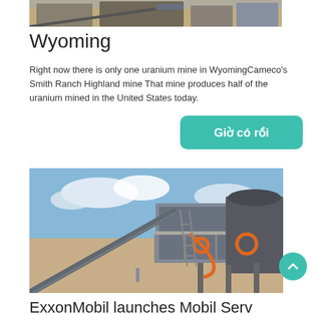[Figure (photo): Industrial mining equipment/machinery at a mine site, partial view at top of page]
Wyoming
Right now there is only one uranium mine in WyomingCameco's Smith Ranch Highland mine That mine produces half of the uranium mined in the United States today.
[Figure (other): Teal/green button with white bold text 'Giờ có rồi']
[Figure (photo): Mining processing plant with conveyor belts, large industrial machinery under blue sky with clouds]
ExxonMobil launches Mobil Serv